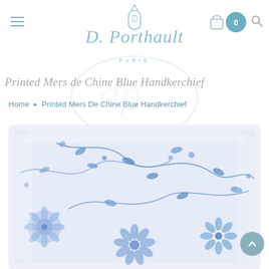D. Porthault Paris — navigation header with hamburger menu, cart (0), and search icon
Printed Mers de Chine Blue Handkerchief
Home › Printed Mers De Chine Blue Handkerchief
[Figure (photo): Close-up photograph of a white fabric handkerchief printed with a blue watercolour floral pattern featuring daisy-like flowers, leaves, and vines on a white background]